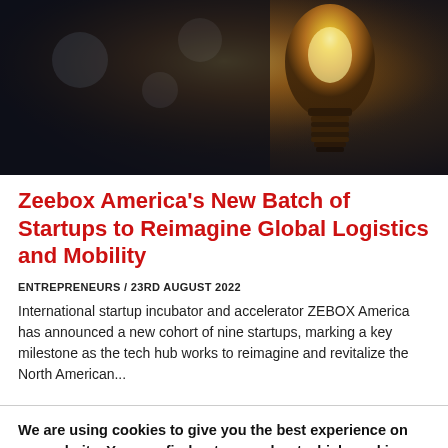[Figure (photo): Close-up photo of an illuminated vintage Edison light bulb with a warm glowing filament against a dark blurred background]
Zeebox America's New Batch of Startups to Reimagine Global Logistics and Mobility
ENTREPRENEURS / 23RD AUGUST 2022
International startup incubator and accelerator ZEBOX America has announced a new cohort of nine startups, marking a key milestone as the tech hub works to reimagine and revitalize the North American...
We are using cookies to give you the best experience on our website. You can find out more about which cookies we are using or switch them off in settings.
Accept